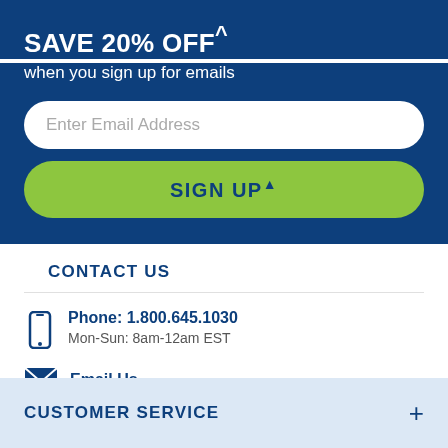SAVE 20% OFF^
when you sign up for emails
Enter Email Address
SIGN UP▲
CONTACT US
Phone: 1.800.645.1030
Mon-Sun: 8am-12am EST
Email Us
Live Chat
CUSTOMER SERVICE